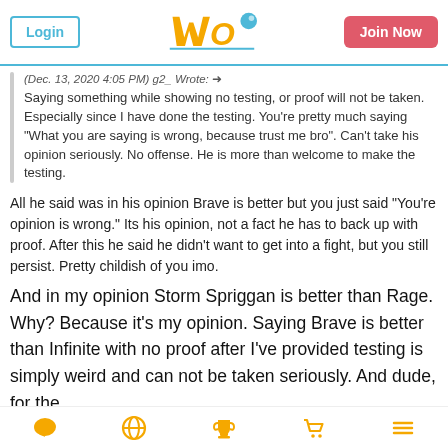Login | WBO | Join Now
(Dec. 13, 2020 4:05 PM) g2_ Wrote: → Saying something while showing no testing, or proof will not be taken. Especially since I have done the testing. You're pretty much saying "What you are saying is wrong, because trust me bro". Can't take his opinion seriously. No offense. He is more than welcome to make the testing.
All he said was in his opinion Brave is better but you just said "You're opinion is wrong." Its his opinion, not a fact he has to back up with proof. After this he said he didn't want to get into a fight, but you still persist. Pretty childish of you imo.
And in my opinion Storm Spriggan is better than Rage. Why? Because it's my opinion. Saying Brave is better than Infinite with no proof after I've provided testing is simply weird and can not be taken seriously. And dude, for the
Navigation icons: chat, globe, trophy, cart, menu